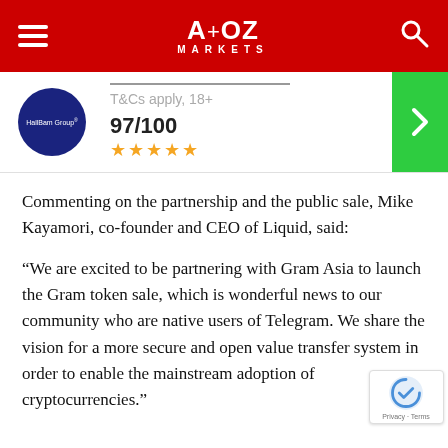A+OZ MARKETS
[Figure (other): Ad banner showing HallBam Group logo circle (dark navy), score 97/100, 5 gold stars, T&Cs apply 18+ text, and green CTA arrow button]
Commenting on the partnership and the public sale, Mike Kayamori, co-founder and CEO of Liquid, said:
“We are excited to be partnering with Gram Asia to launch the Gram token sale, which is wonderful news to our community who are native users of Telegram. We share the vision for a more secure and open value transfer system in order to enable the mainstream adoption of cryptocurrencies.”